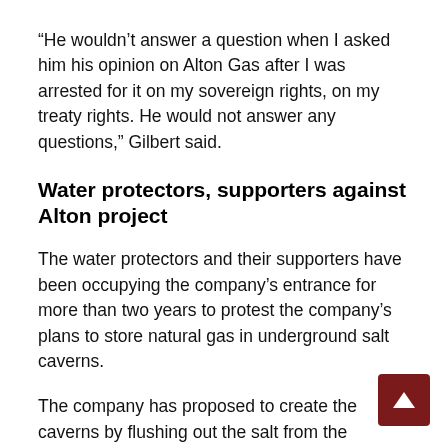“He wouldn’t answer a question when I asked him his opinion on Alton Gas after I was arrested for it on my sovereign rights, on my treaty rights. He would not answer any questions,” Gilbert said.
Water protectors, supporters against Alton project
The water protectors and their supporters have been occupying the company’s entrance for more than two years to protest the company’s plans to store natural gas in underground salt caverns.
The company has proposed to create the caverns by flushing out the salt from the caverns using water from the tidal Shubenacadie River. The salty water mixture would be stored in a holding pond located on the riverbank and then released into the river. The